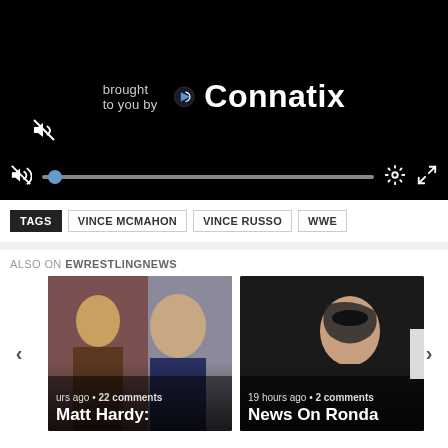[Figure (screenshot): Video player with black background showing 'brought to you by Connatix' branding, mute icon, volume/progress bar, settings and fullscreen buttons]
TAGS   VINCE MCMAHON   VINCE RUSSO   WWE
ALSO ON EWRESTLINGNEWS
[Figure (photo): Article thumbnail showing two wrestlers/personalities, with text: 'urs ago • 22 comments' and headline 'Matt Hardy:']
[Figure (photo): Article thumbnail showing a female wrestler with face paint, with text: '19 hours ago • 2 comments' and headline 'News On Ronda']